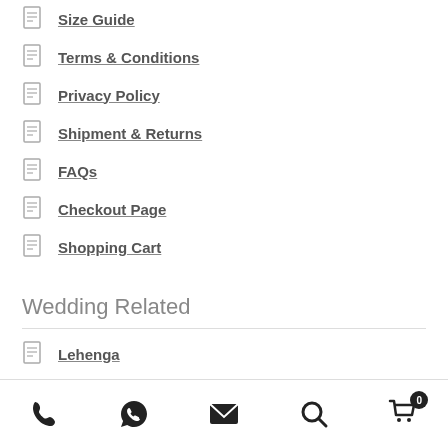Size Guide
Terms & Conditions
Privacy Policy
Shipment & Returns
FAQs
Checkout Page
Shopping Cart
Wedding Related
Lehenga
Phone | WhatsApp | Email | Search | Cart (0)